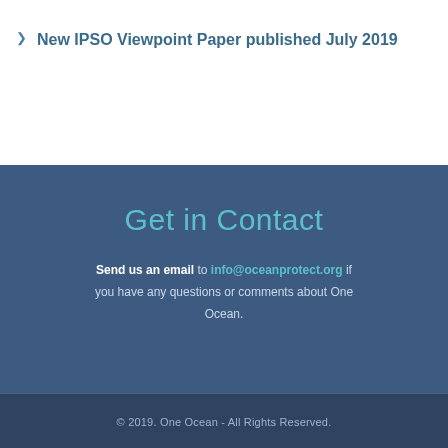New IPSO Viewpoint Paper published July 2019
Get in Contact
Send us an email to info@oceanprotect.org if you have any questions or comments about One Ocean.
© 2019. One Ocean - All Rights Reserved.